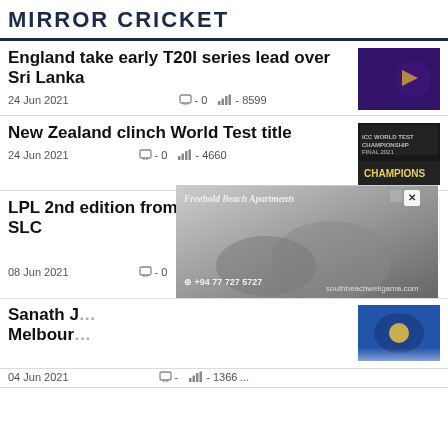MIRROR CRICKET
England take early T20I series lead over Sri Lanka
24 Jun 2021   □ - 0   |||  - 8599
New Zealand clinch World Test title
24 Jun 2021   □ - 0   |||  - 4660
LPL 2nd edition from July 30-August 22-SLC
08 Jun 2021   □ - 0   |||  - 2286
Sanath J... Melbour...
04 Jun 2021   □ -    ||| - 1366
[Figure (photo): Advertisement overlay: Freehold Beach Apartments with +94 77 727 5727, southbeachweligama.com]